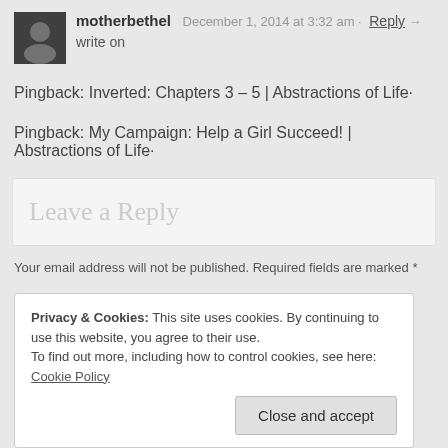motherbethel  December 1, 2014 at 3:32 am · Reply →
write on
Pingback: Inverted: Chapters 3 – 5 | Abstractions of Life·
Pingback: My Campaign: Help a Girl Succeed! | Abstractions of Life·
Leave a Reply
Your email address will not be published. Required fields are marked *
Privacy & Cookies: This site uses cookies. By continuing to use this website, you agree to their use.
To find out more, including how to control cookies, see here: Cookie Policy
Close and accept